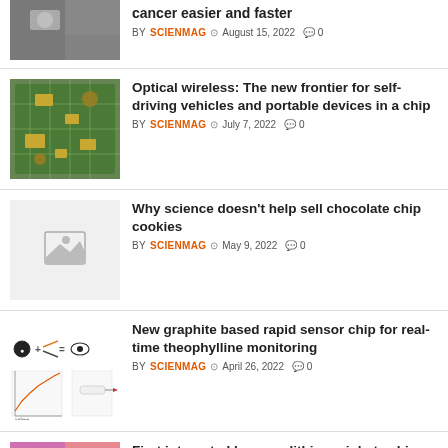[Figure (photo): Photo of people working with scientific equipment, partially cut at top]
cancer easier and faster
BY SCIENMAG  August 15, 2022  0
[Figure (photo): Photo of a circuit board or electronic component close-up]
Optical wireless: The new frontier for self-driving vehicles and portable devices in a chip
BY SCIENMAG  July 7, 2022  0
[Figure (photo): Placeholder image with image icon]
Why science doesn’t help sell chocolate chip cookies
BY SCIENMAG  May 9, 2022  0
[Figure (illustration): Scientific diagram showing graphite sensor chip components and measurements]
New graphite based rapid sensor chip for real-time theophylline monitoring
BY SCIENMAG  April 26, 2022  0
[Figure (photo): Pink/purple colored photo, partially cut at bottom]
First integrated laser on lithium niobate chip